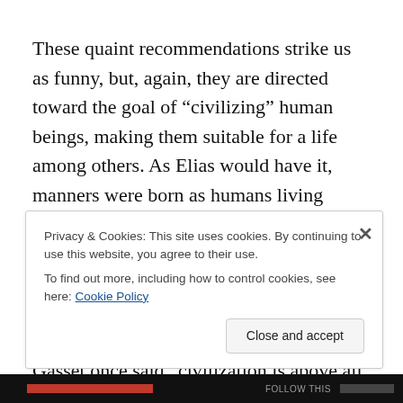These quaint recommendations strike us as funny, but, again, they are directed toward the goal of “civilizing” human beings, making them suitable for a life among others. As Elias would have it, manners were born as humans living together became increasingly aware that their own behavior must take into account the feelings of others,  restraining oneself “out of consideration for the embarrassment of others.” Ortega y Gasset once said “civilization is above all else the will to live in common,” which captures the same thought.
Privacy & Cookies: This site uses cookies. By continuing to use this website, you agree to their use.
To find out more, including how to control cookies, see here: Cookie Policy